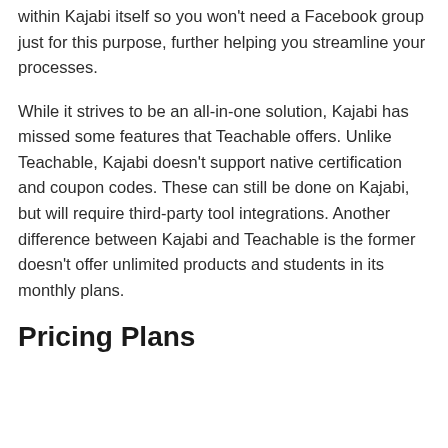within Kajabi itself so you won't need a Facebook group just for this purpose, further helping you streamline your processes.
While it strives to be an all-in-one solution, Kajabi has missed some features that Teachable offers. Unlike Teachable, Kajabi doesn't support native certification and coupon codes. These can still be done on Kajabi, but will require third-party tool integrations. Another difference between Kajabi and Teachable is the former doesn't offer unlimited products and students in its monthly plans.
Pricing Plans